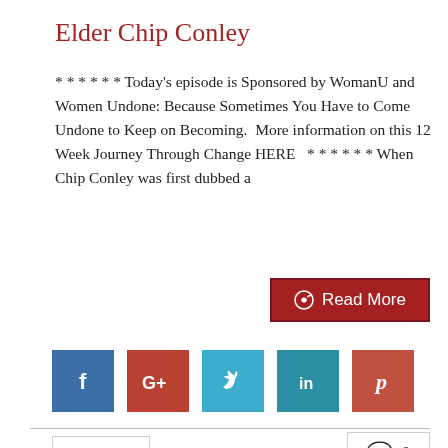Elder Chip Conley
* * * * * * Today's episode is Sponsored by WomanU and Women Undone: Because Sometimes You Have to Come Undone to Keep on Becoming.  More information on this 12 Week Journey Through Change HERE   * * * * * * When Chip Conley was first dubbed a
Read More
[Figure (infographic): Social media share icons: Facebook (blue), Google+ (red-brown), Twitter (light blue), LinkedIn (teal), Pinterest (terracotta)]
May 21
2020
0
[Figure (photo): Bottom partial image thumbnail with red and teal colors]